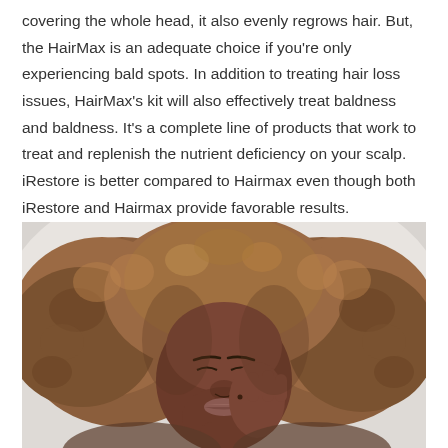covering the whole head, it also evenly regrows hair. But, the HairMax is an adequate choice if you're only experiencing bald spots. In addition to treating hair loss issues, HairMax's kit will also effectively treat baldness and baldness. It's a complete line of products that work to treat and replenish the nutrient deficiency on your scalp. iRestore is better compared to Hairmax even though both iRestore and Hairmax provide favorable results.
[Figure (photo): A woman with voluminous curly brown/auburn hair, eyes closed, resting her cheek on her hand, photographed against a light grey background.]